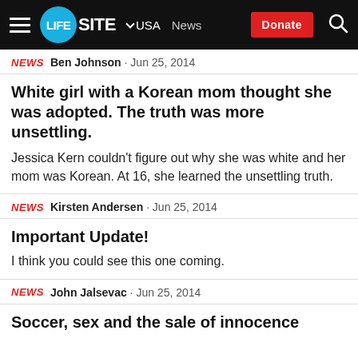LifeSite • USA News — Donate
NEWS  Ben Johnson · Jun 25, 2014
White girl with a Korean mom thought she was adopted. The truth was more unsettling.
Jessica Kern couldn't figure out why she was white and her mom was Korean. At 16, she learned the unsettling truth.
NEWS  Kirsten Andersen · Jun 25, 2014
Important Update!
I think you could see this one coming.
NEWS  John Jalsevac · Jun 25, 2014
Soccer, sex and the sale of innocence